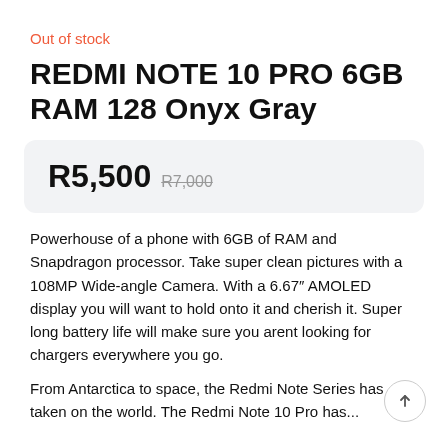Out of stock
REDMI NOTE 10 PRO 6GB RAM 128 Onyx Gray
R5,500  R7,000
Powerhouse of a phone with 6GB of RAM and Snapdragon processor. Take super clean pictures with a 108MP Wide-angle Camera. With a 6.67″ AMOLED display you will want to hold onto it and cherish it. Super long battery life will make sure you arent looking for chargers everywhere you go.
From Antarctica to space, the Redmi Note Series has taken on the world. The Redmi Note 10 Pro has...